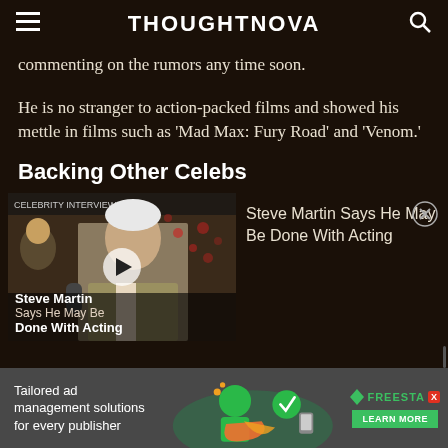THOUGHTNOVA
commenting on the rumors any time soon.
He is no stranger to action-packed films and showed his mettle in films such as 'Mad Max: Fury Road' and 'Venom.'
Backing Other Celebs
[Figure (screenshot): Video thumbnail showing Steve Martin at an event, with overlay text 'Steve Martin Says He May Be Done With Acting' and a play button]
Steve Martin Says He May Be Done With Acting
[Figure (infographic): Advertisement banner: 'Tailored ad management solutions for every publisher' with Freestar logo and 'LEARN MORE' button]